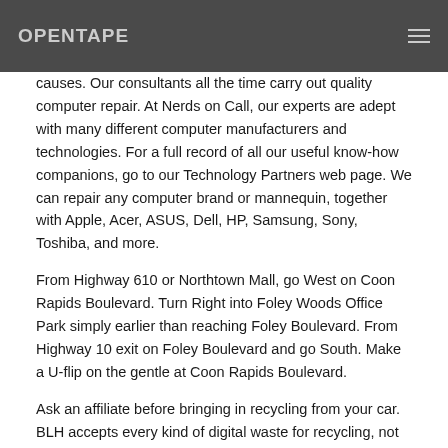OPENTAPE
causes. Our consultants all the time carry out quality computer repair. At Nerds on Call, our experts are adept with many different computer manufacturers and technologies. For a full record of all our useful know-how companions, go to our Technology Partners web page. We can repair any computer brand or mannequin, together with Apple, Acer, ASUS, Dell, HP, Samsung, Sony, Toshiba, and more.
From Highway 610 or Northtown Mall, go West on Coon Rapids Boulevard. Turn Right into Foley Woods Office Park simply earlier than reaching Foley Boulevard. From Highway 10 exit on Foley Boulevard and go South. Make a U-flip on the gentle at Coon Rapids Boulevard.
Ask an affiliate before bringing in recycling from your car. BLH accepts every kind of digital waste for recycling, not simply computer systems. New recycling coverage for 2020, please comply with the link under.
If your computer is having hardware issues, the DoIT